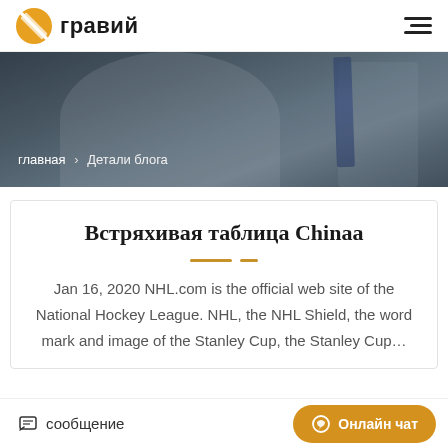гравий
[Figure (photo): Hero banner image showing a blurred close-up of a person in a dress shirt and tie, with breadcrumb navigation overlay reading 'главная > Детали блога']
Встряхивая таблица Chinaa
Jan 16, 2020 NHL.com is the official web site of the National Hockey League. NHL, the NHL Shield, the word mark and image of the Stanley Cup, the Stanley Cup…
сообщение   Онлайн чат